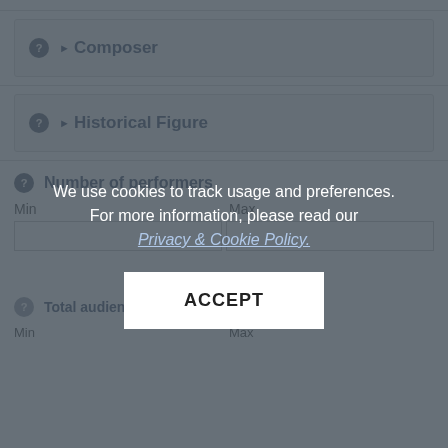Composer
Historical Figure
Number of performers
Min
Max
We use cookies to track usage and preferences. For more information, please read our Privacy & Cookie Policy.
ACCEPT
Total audience figure
Min
Max